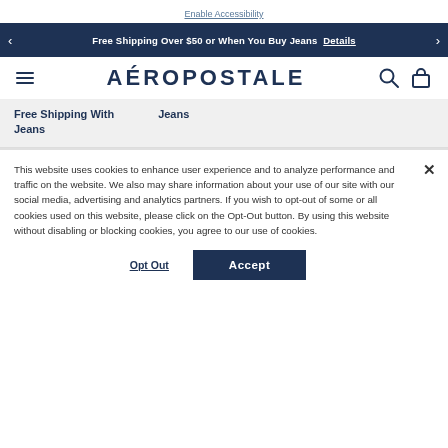Enable Accessibility
Free Shipping Over $50 or When You Buy Jeans  Details
AÉROPOSTALE
Free Shipping With Jeans
Jeans
This website uses cookies to enhance user experience and to analyze performance and traffic on the website. We also may share information about your use of our site with our social media, advertising and analytics partners. If you wish to opt-out of some or all cookies used on this website, please click on the Opt-Out button. By using this website without disabling or blocking cookies, you agree to our use of cookies.
Opt Out
Accept